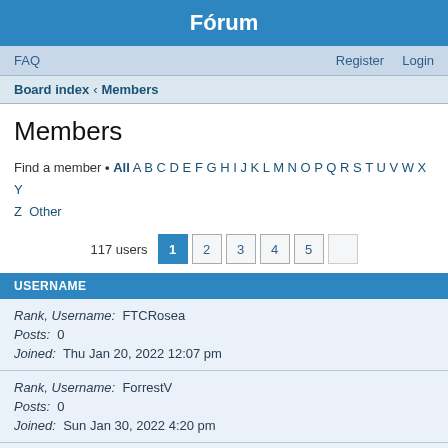Fórum
FAQ   Register   Login
Board index « Members
Members
Find a member • All A B C D E F G H I J K L M N O P Q R S T U V W X Y Z Other
117 users  1 2 3 4 5
| USERNAME |
| --- |
| Rank, Username: FTCRosea | Posts: 0 | Joined: Thu Jan 20, 2022 12:07 pm |
| Rank, Username: ForrestV | Posts: 0 | Joined: Sun Jan 30, 2022 4:20 pm |
| Rank, Username: FSATawny | Posts: 0 |  |